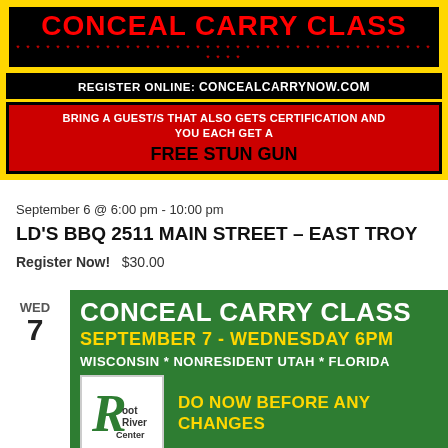[Figure (infographic): Yellow background banner with black box containing red 'CONCEAL CARRY CLASS' text with stars, black registration bar with white text 'REGISTER ONLINE: CONCEALCARRYNOW.COM', and red promo box offering free stun gun for bringing a certified guest]
September 6 @ 6:00 pm - 10:00 pm
LD'S BBQ 2511 MAIN STREET – EAST TROY
Register Now!   $30.00
[Figure (infographic): Green banner with white 'CONCEAL CARRY CLASS' heading, yellow 'SEPTEMBER 7 - WEDNESDAY 6PM' subheading, white 'WISCONSIN * NONRESIDENT UTAH * FLORIDA' text, Root River Center logo, and yellow 'DO NOW BEFORE ANY CHANGES' call to action]
WED 7